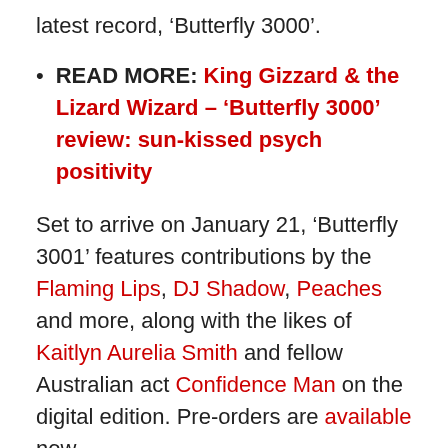latest record, ‘Butterfly 3000’.
READ MORE: King Gizzard & the Lizard Wizard – ‘Butterfly 3000’ review: sun-kissed psych positivity
Set to arrive on January 21, ‘Butterfly 3001’ features contributions by the Flaming Lips, DJ Shadow, Peaches and more, along with the likes of Kaitlyn Aurelia Smith and fellow Australian act Confidence Man on the digital edition. Pre-orders are available now.
To coincide with the announcement, the psych-rock outfit have shared two cuts from the LP; a remix of ‘Butterfly 3000’ by Peaches and a ‘Shanghai’ dub